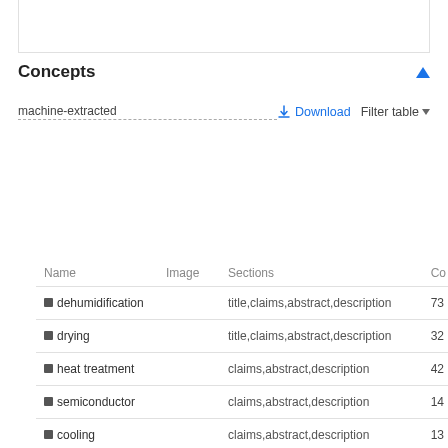Concepts
machine-extracted
| Name | Image | Sections | Co |
| --- | --- | --- | --- |
| dehumidification |  | title,claims,abstract,description | 73 |
| drying |  | title,claims,abstract,description | 32 |
| heat treatment |  | claims,abstract,description | 42 |
| semiconductor |  | claims,abstract,description | 14 |
| cooling |  | claims,abstract,description | 13 |
| insulation |  | claims,description | 10 |